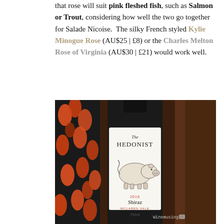that rose will suit pink fleshed fish, such as Salmon or Trout, considering how well the two go together for Salade Nicoise.  The silky French styled Kylie Minogue Rose (AU$25 | £8) or the Charles Melton Rose of Virginia (AU$30 | £21) would work well.
[Figure (photo): A bottle of The Hedonist 2018 Shiraz McLaren Vale 750ml wine, with a white label featuring a pig illustration, photographed against a dark brown leather background with a floral fabric visible on the left. A 'Winemusing' watermark appears at the bottom right.]